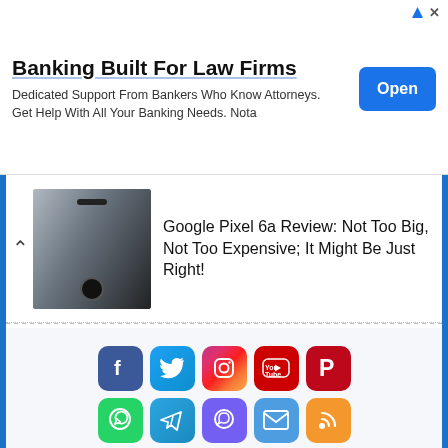[Figure (infographic): Advertisement banner: 'Banking Built For Law Firms' with subtitle 'Dedicated Support From Bankers Who Know Attorneys. Get Help With All Your Banking Needs. Nota' and a blue 'Open' button. Ad attribution icons top right.]
Google Pixel 6a Review: Not Too Big, Not Too Expensive; It Might Be Just Right!
[Figure (infographic): Two rows of social media icons: Row 1: Facebook, Twitter, Instagram, YouTube, Pinterest. Row 2: WhatsApp, Telegram, Viber, Email, RSS.]
[Figure (photo): Partial advertisement image showing 'Thermapen ONE' branding with a person holding a red thermometer device displaying '125'.]